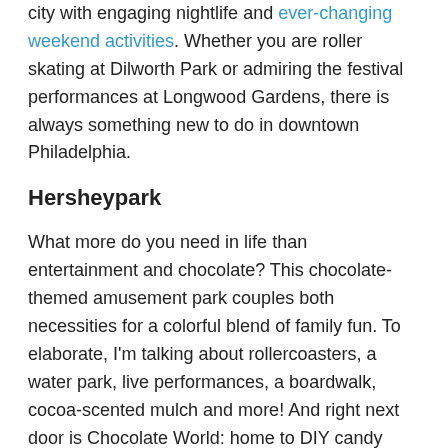city with engaging nightlife and ever-changing weekend activities. Whether you are roller skating at Dilworth Park or admiring the festival performances at Longwood Gardens, there is always something new to do in downtown Philadelphia.
Hersheypark
What more do you need in life than entertainment and chocolate? This chocolate-themed amusement park couples both necessities for a colorful blend of family fun. To elaborate, I'm talking about rollercoasters, a water park, live performances, a boardwalk, cocoa-scented mulch and more! And right next door is Chocolate World: home to DIY candy bars, chocolate tours and an interactive chocolate mystery. Need we say more? Hersheypark is only about a two-hour drive from Philadelphia, located in Derry Township.
Amish Country
With a quaint setting and homiest setting along the road...